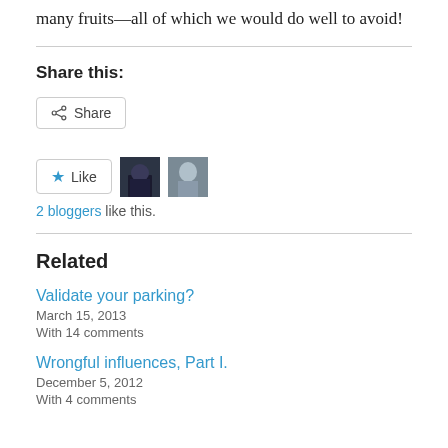many fruits—all of which we would do well to avoid!
Share this:
[Figure (screenshot): Share button with share icon]
[Figure (screenshot): Like button with star icon and two blogger avatars]
2 bloggers like this.
Related
Validate your parking?
March 15, 2013
With 14 comments
Wrongful influences, Part I.
December 5, 2012
With 4 comments